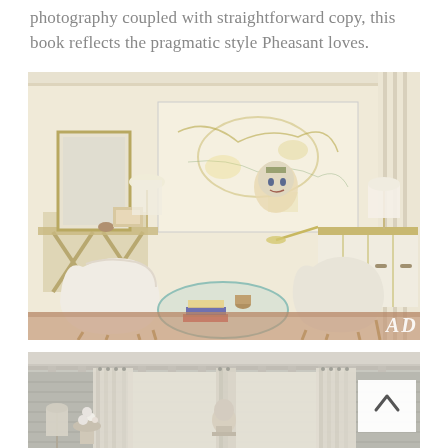photography coupled with straightforward copy, this book reflects the pragmatic style Pheasant loves.
[Figure (photo): Elegant living room interior with cream and white furniture including two armchairs, a glass-top coffee table with books, a credenza/sideboard with gold trim, table lamps, a large abstract artwork in cream, gold and yellow tones, an X-leg console table with a framed mirror, and a decorative sculptural face bust. Warm brown/rust rug. Neutral cream walls. AD logo in lower right corner.]
[Figure (photo): Bedroom or hallway interior with tall cream/off-white curtain panels hanging from ceiling-height windows, decorative crown molding, gray shiplap or paneled walls, a classical marble or plaster bust on a surface, flowers in a vase, a lamp, and a white scroll-up navigation button overlay in the upper right area.]